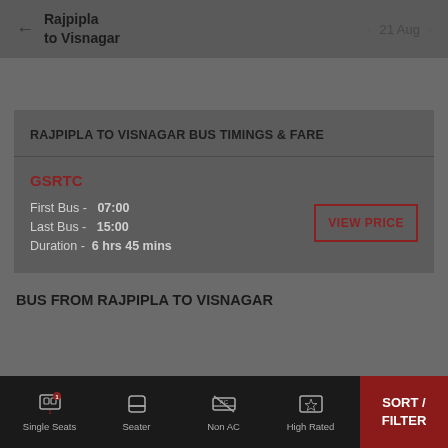Rajpipla to Visnagar | 21 Aug
RAJPIPLA TO VISNAGAR BUS TIMINGS & FARE
GSRTC
First Bus - 07:00
Last Bus - 15:00
Duration - 6 hrs 45 mins
VIEW PRICE
BUS FROM RAJPIPLA TO VISNAGAR
Single Seats | Seater | Non AC | High Rated | SORT / FILTER